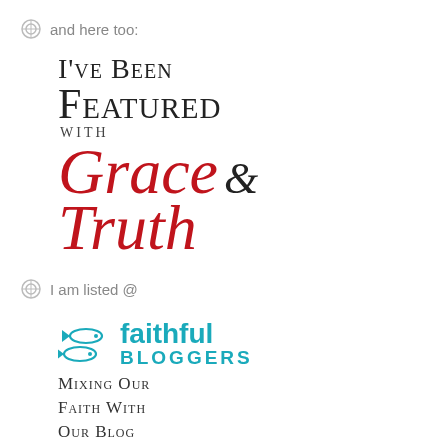and here too:
[Figure (logo): I've Been Featured with Grace & Truth logo — serif small-caps text with red italic script for Grace and Truth]
I am listed @
[Figure (logo): Faithful Bloggers logo with teal fish icons and teal bold text, subtitle: Mixing Our Faith With Our Blog]